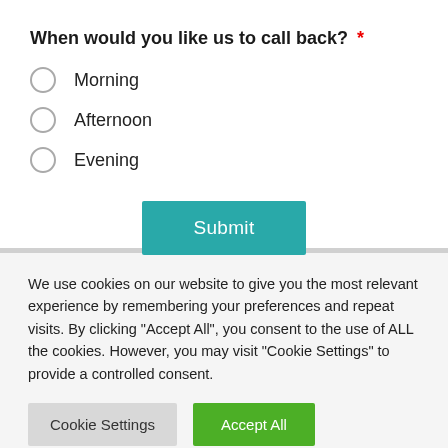When would you like us to call back? *
Morning
Afternoon
Evening
Submit
We use cookies on our website to give you the most relevant experience by remembering your preferences and repeat visits. By clicking "Accept All", you consent to the use of ALL the cookies. However, you may visit "Cookie Settings" to provide a controlled consent.
Cookie Settings
Accept All